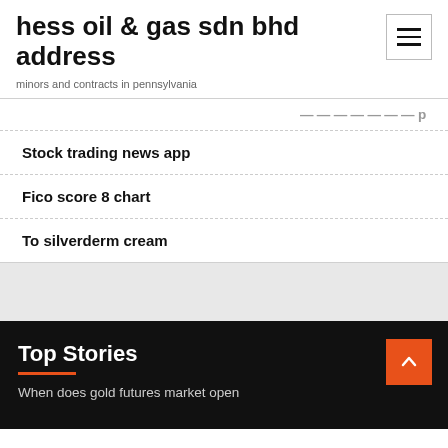hess oil & gas sdn bhd address
minors and contracts in pennsylvania
Stock trading news app
Fico score 8 chart
To silverderm cream
Top Stories
When does gold futures market open